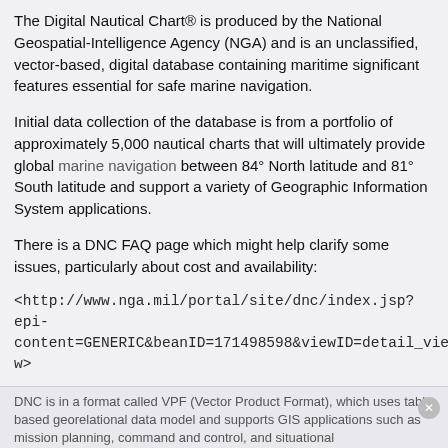The Digital Nautical Chart® is produced by the National Geospatial-Intelligence Agency (NGA) and is an unclassified, vector-based, digital database containing maritime significant features essential for safe marine navigation.
Initial data collection of the database is from a portfolio of approximately 5,000 nautical charts that will ultimately provide global marine navigation between 84° North latitude and 81° South latitude and support a variety of Geographic Information System applications.
There is a DNC FAQ page which might help clarify some issues, particularly about cost and availability:
<http://www.nga.mil/portal/site/dnc/index.jsp?epi-content=GENERIC&beanID=171498598&viewID=detail_view>
Of interest to cruisers, and my reason for asking the question is this from the DNC folks:
DNC is in a format called VPF (Vector Product Format), which uses table based georelational data model and supports GIS applications such as mission planning, command and control, and situational